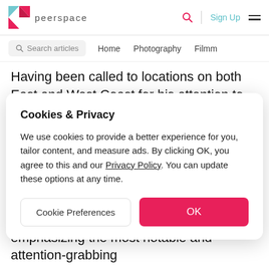peerspace
Having been called to locations on both East and West Coast for his attention to detail and collaborative spirit,
Cookies & Privacy
We use cookies to provide a better experience for you, tailor content, and measure ads. By clicking OK, you agree to this and our Privacy Policy. You can update these options at any time.
Cookie Preferences | OK
emphasizing the most notable and attention-grabbing